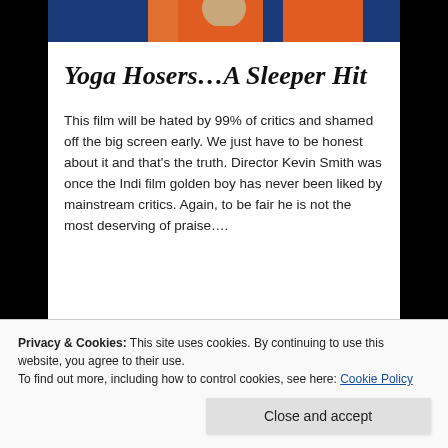[Figure (photo): Partial photo of a person wearing an orange and navy hockey jersey, cropped at the top of the page]
Yoga Hosers...A Sleeper Hit
This film will be hated by 99% of critics and shamed off the big screen early. We just have to be honest about it and that's the truth. Director Kevin Smith was once the Indi film golden boy has never been liked by mainstream critics. Again, to be fair he is not the most deserving of praise….
Privacy & Cookies: This site uses cookies. By continuing to use this website, you agree to their use.
To find out more, including how to control cookies, see here: Cookie Policy
Close and accept